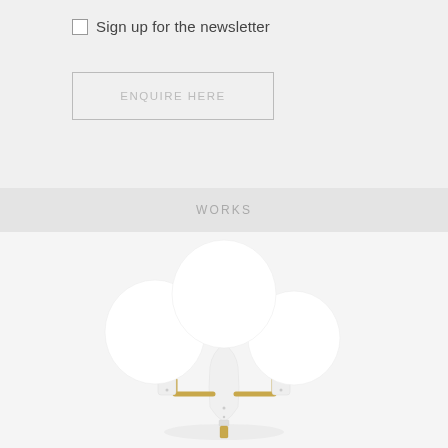Sign up for the newsletter
ENQUIRE HERE
WORKS
[Figure (photo): A white wall-mounted light fixture with brass arms and three round white globe shades, photographed against a light grey background.]